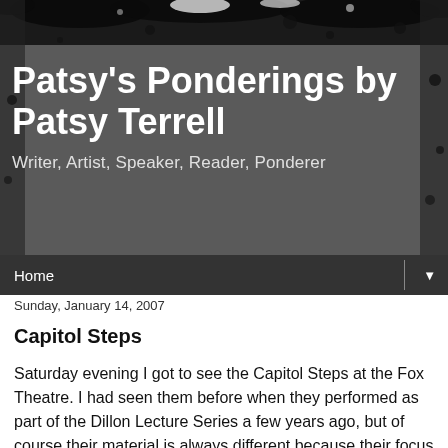Patsy's Ponderings by Patsy Terrell
Writer, Artist, Speaker, Reader, Ponderer
Home
Sunday, January 14, 2007
Capitol Steps
Saturday evening I got to see the Capitol Steps at the Fox Theatre. I had seen them before when they performed as part of the Dillon Lecture Series a few years ago, but of course their material is always different because their focus is political satire.